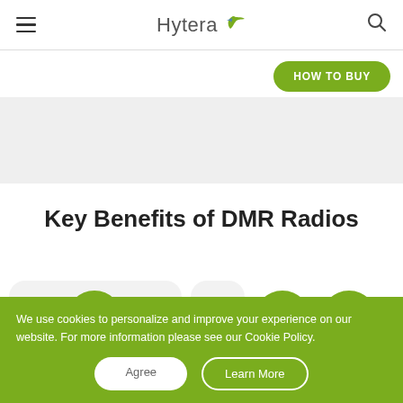Hytera — navigation bar with hamburger menu and search icon
HOW TO BUY
[Figure (illustration): Gray banner area below navigation]
Key Benefits of DMR Radios
[Figure (illustration): Two rounded cards with green circular icons: first card shows a device-sync/walkie-talkie icon, second area shows a speaker/audio icon and a headset/support icon]
We use cookies to personalize and improve your experience on our website. For more information please see our Cookie Policy.
Agree
Learn More